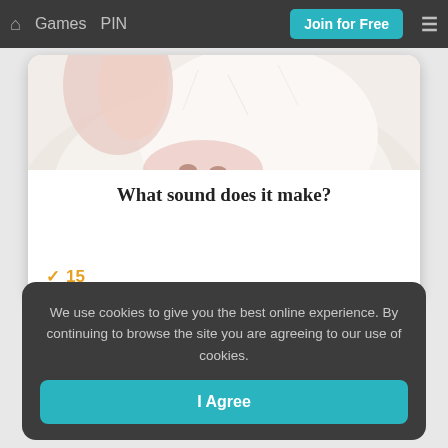🏠 Games  PIN  Join for Free  ≡
[Figure (photo): Close-up photo of a white animal (pig or cat) nose and face, cropped at the top of a card]
What sound does it make?
✓ 15
We use cookies to give you the best online experience. By continuing to browse the site you are agreeing to our use of cookies.
I Agree